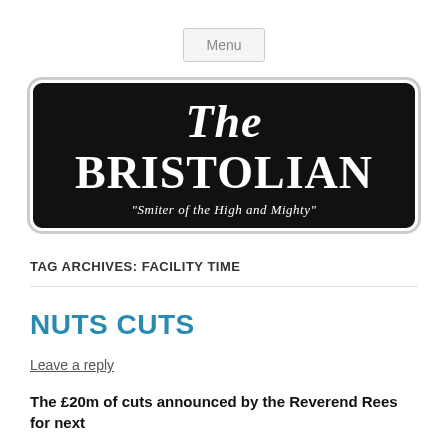Menu
[Figure (logo): The Bristolian newspaper logo — black rounded rectangle with white serif text 'The BRISTOLIAN' and italic subtitle 'Smiter of the High and Mighty']
TAG ARCHIVES: FACILITY TIME
NUTS CUTS
Leave a reply
The £20m of cuts announced by the Reverend Rees for next